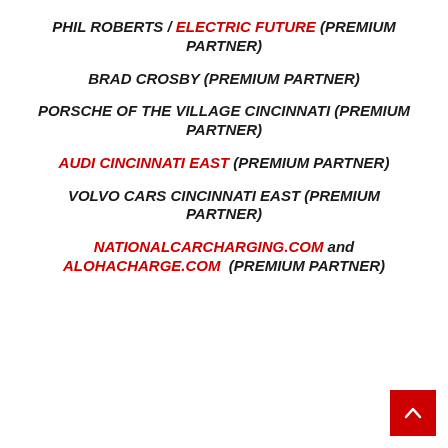PHIL ROBERTS / ELECTRIC FUTURE (PREMIUM PARTNER)
BRAD CROSBY (PREMIUM PARTNER)
PORSCHE OF THE VILLAGE CINCINNATI (PREMIUM PARTNER)
AUDI CINCINNATI EAST (PREMIUM PARTNER)
VOLVO CARS CINCINNATI EAST (PREMIUM PARTNER)
NATIONALCARCHARGING.COM and ALOHACHARGE.COM (PREMIUM PARTNER)